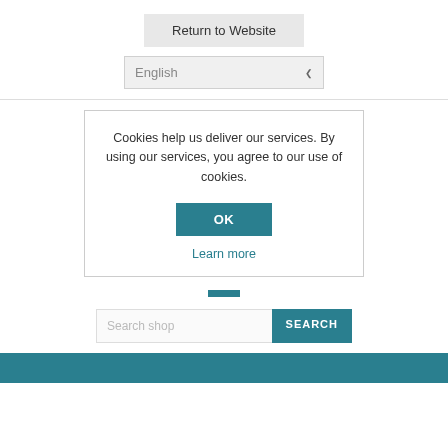Return to Website
English
Cookies help us deliver our services. By using our services, you agree to our use of cookies.
OK
Learn more
Search shop
SEARCH